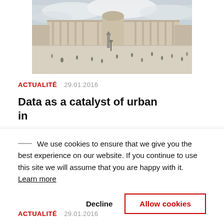[Figure (photo): Aerial view of a large historic European city square with classical architecture, a central monument/fountain, and many pedestrians walking across the open plaza under a cloudy sky.]
ACTUALITÉ   29.01.2016
Data as a catalyst of urban in
We use cookies to ensure that we give you the best experience on our website. If you continue to use this site we will assume that you are happy with it. Learn more
Decline   Allow cookies
ACTUALITÉ   29.01.2016